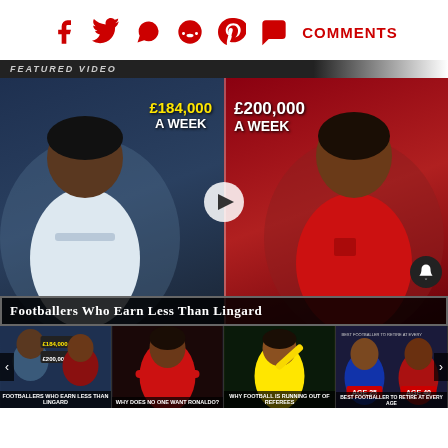[Figure (screenshot): Social media sharing icons: Facebook, Twitter, WhatsApp, Reddit, Pinterest, Comments in red]
FEATURED VIDEO
[Figure (screenshot): Video thumbnail showing two footballers. Left: player in white Real Madrid kit with text £184,000 A WEEK. Right: player in red Nottingham Forest kit with text £200,000 A WEEK. Caption reads: Footballers Who Earn Less Than Lingard]
[Figure (screenshot): Thumbnail strip with four video thumbnails: 1) Footballers Who Earn Less Than Lingard, 2) Why Does No One Want Ronaldo?, 3) Why Football Is Running Out Of Referees, 4) Best Footballer To Retire At Every Age (Age 25, Age 40)]